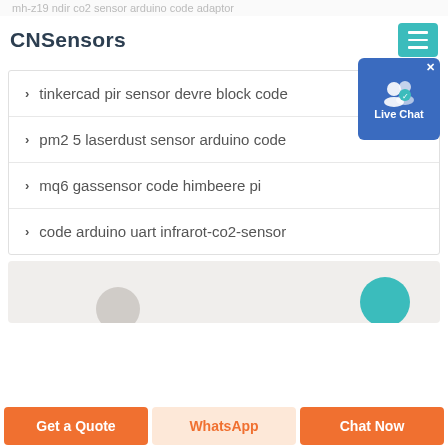mh-z19 ndir co2 sensor arduino code adaptor
CNSensors
tinkercad pir sensor devre block code
pm2 5 laserdust sensor arduino code
mq6 gassensor code himbeere pi
code arduino uart infrarot-co2-sensor
[Figure (screenshot): Live Chat badge button with user icon]
[Figure (screenshot): Gray section with circular profile placeholders]
Get a Quote
WhatsApp
Chat Now